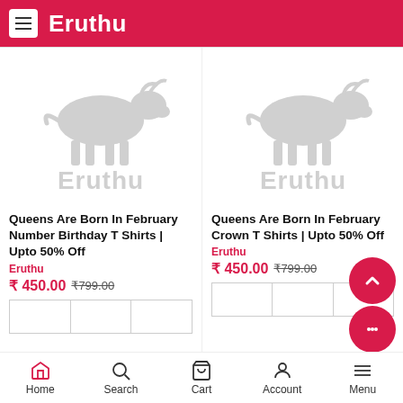Eruthu
[Figure (logo): Eruthu brand logo with bull and text, left product]
Queens Are Born In February Number Birthday T Shirts | Upto 50% Off
Eruthu
₹ 450.00 ₹799.00
[Figure (logo): Eruthu brand logo with bull and text, right product]
Queens Are Born In February Crown T Shirts | Upto 50% Off
Eruthu
₹ 450.00 ₹799.00
Home  Search  Cart  Account  Menu